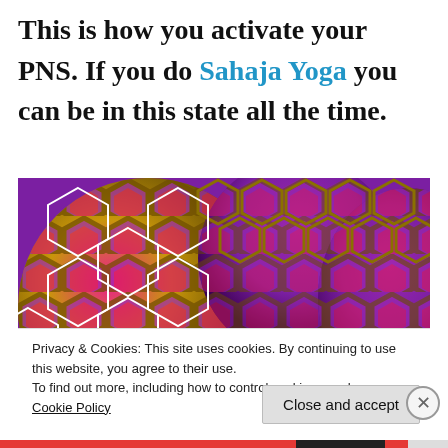This is how you activate your PNS. If you do Sahaja Yoga you can be in this state all the time.
[Figure (photo): Close-up photograph of spherical objects with a honeycomb/hexagonal pattern in gold, purple, and red/magenta colors creating an optical illusion effect.]
Privacy & Cookies: This site uses cookies. By continuing to use this website, you agree to their use.
To find out more, including how to control cookies, see here: Cookie Policy